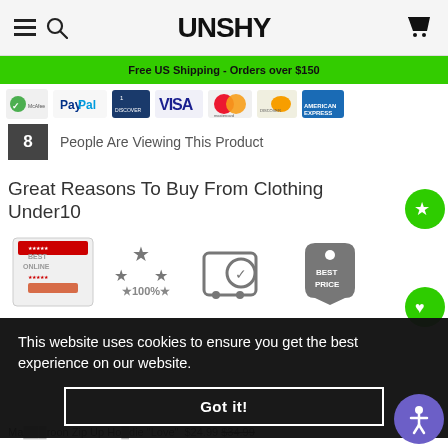UNSHY
Free US Shipping - Orders over $150
[Figure (other): Payment method logos: McAfee secure, PayPal, Discover, Visa, Mastercard, Discover Network, American Express]
8 People Are Viewing This Product
Great Reasons To Buy From Clothing Under10
[Figure (infographic): Four trust badge icons: Best Online (stars), 100% satisfaction rating stars, secure shopping cart with shield, Best Price tag]
This website uses cookies to ensure you get the best experience on our website.
Got it!
Maroon Zip Up Hoodie "Love" $24.99 $34.99